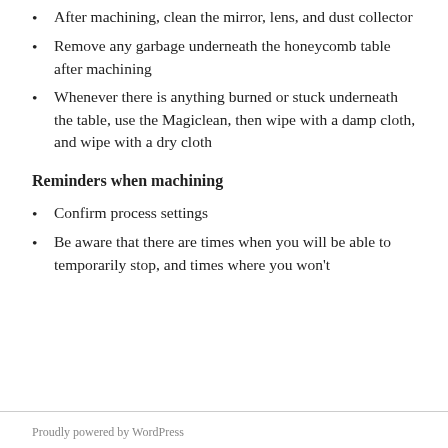After machining, clean the mirror, lens, and dust collector
Remove any garbage underneath the honeycomb table after machining
Whenever there is anything burned or stuck underneath the table, use the Magiclean, then wipe with a damp cloth, and wipe with a dry cloth
Reminders when machining
Confirm process settings
Be aware that there are times when you will be able to temporarily stop, and times where you won't
Proudly powered by WordPress